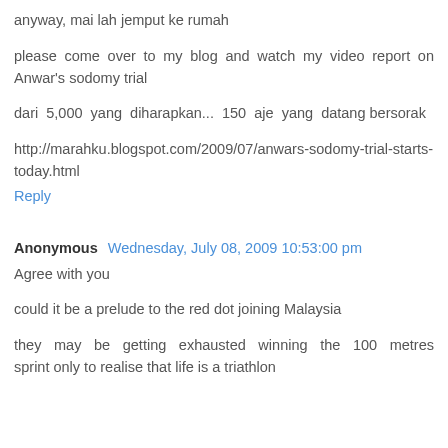anyway, mai lah jemput ke rumah
please come over to my blog and watch my video report on Anwar's sodomy trial
dari 5,000 yang diharapkan... 150 aje yang datang bersorak
http://marahku.blogspot.com/2009/07/anwars-sodomy-trial-starts-today.html
Reply
Anonymous Wednesday, July 08, 2009 10:53:00 pm
Agree with you
could it be a prelude to the red dot joining Malaysia
they may be getting exhausted winning the 100 metres sprint only to realise that life is a triathlon